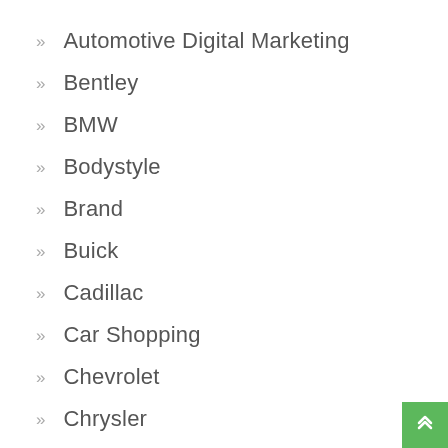Automotive Digital Marketing
Bentley
BMW
Bodystyle
Brand
Buick
Cadillac
Car Shopping
Chevrolet
Chrysler